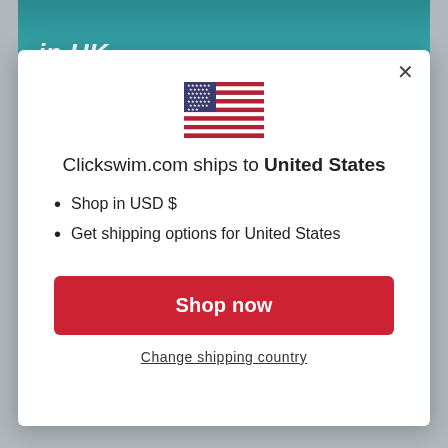[Figure (screenshot): Background showing top banner of a swimwear website with teal/dark background and text 'Swimsuits in UK' in white italic bold font, with a partial image of a swimmer on the right side]
[Figure (illustration): US flag emoji/icon centered in the modal dialog]
Clickswim.com ships to United States
Shop in USD $
Get shipping options for United States
Shop now
Change shipping country